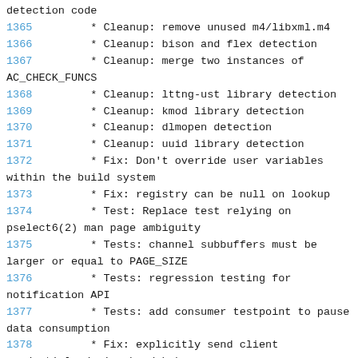detection code
1365         * Cleanup: remove unused m4/libxml.m4
1366         * Cleanup: bison and flex detection
1367         * Cleanup: merge two instances of AC_CHECK_FUNCS
1368         * Cleanup: lttng-ust library detection
1369         * Cleanup: kmod library detection
1370         * Cleanup: dlmopen detection
1371         * Cleanup: uuid library detection
1372         * Fix: Don't override user variables within the build system
1373         * Fix: registry can be null on lookup
1374         * Test: Replace test relying on pselect6(2) man page ambiguity
1375         * Tests: channel subbuffers must be larger or equal to PAGE_SIZE
1376         * Tests: regression testing for notification API
1377         * Tests: add consumer testpoint to pause data consumption
1378         * Fix: explicitly send client credentials during handshake
1379         * Test: utils: introduce LTTNG_SESSIOND_ENV_VARS
1380         * Test: utils.sh: use getconf to start